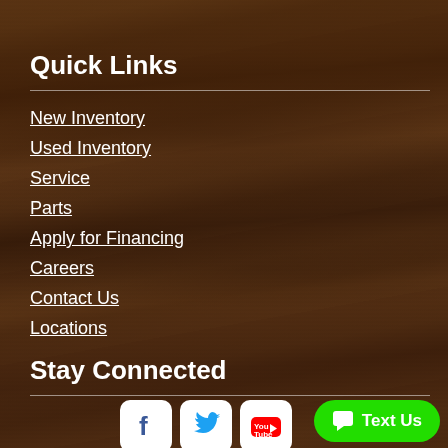Quick Links
New Inventory
Used Inventory
Service
Parts
Apply for Financing
Careers
Contact Us
Locations
Stay Connected
[Figure (logo): Facebook, Twitter, and YouTube social media icons in white rounded square containers]
[Figure (other): Green rounded button with chat bubble icon and 'Text Us' label]